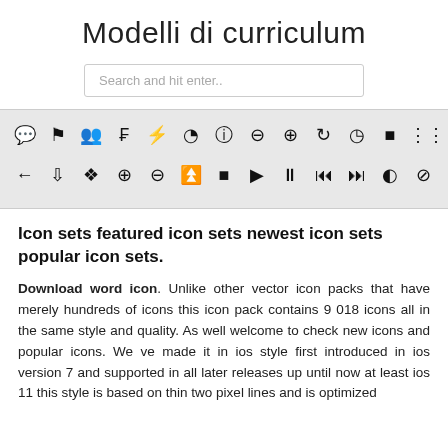Modelli di curriculum
[Figure (screenshot): Search input box with placeholder text 'Search and hit enter..']
[Figure (screenshot): Two rows of various UI icons on a light gray background including message, flag, group, bolt, user, info, minus, plus, refresh, clock, grid and navigation icons]
Icon sets featured icon sets newest icon sets popular icon sets.
Download word icon. Unlike other vector icon packs that have merely hundreds of icons this icon pack contains 9 018 icons all in the same style and quality. As well welcome to check new icons and popular icons. We ve made it in ios style first introduced in ios version 7 and supported in all later releases up until now at least ios 11 this style is based on thin two pixel lines and is optimized